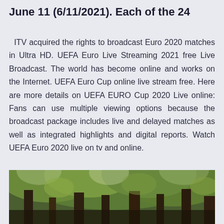June 11 (6/11/2021). Each of the 24
ITV acquired the rights to broadcast Euro 2020 matches in Ultra HD. UEFA Euro Live Streaming 2021 free Live Broadcast. The world has become online and works on the Internet. UEFA Euro Cup online live stream free. Here are more details on UEFA EURO Cup 2020 Live online: Fans can use multiple viewing options because the broadcast package includes live and delayed matches as well as integrated highlights and digital reports. Watch UEFA Euro 2020 live on tv and online.
[Figure (photo): A photograph of a forest or wooded area with green foliage and tree trunks visible, partially cut off at the bottom of the page.]